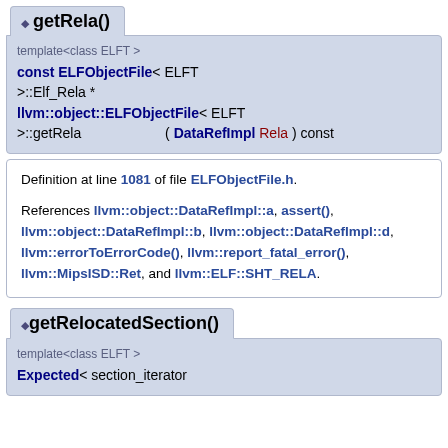getRela()
template<class ELFT >
const ELFObjectFile< ELFT >::Elf_Rela * llvm::object::ELFObjectFile< ELFT >::getRela ( DataRefImpl Rela ) const
Definition at line 1081 of file ELFObjectFile.h.
References llvm::object::DataRefImpl::a, assert(), llvm::object::DataRefImpl::b, llvm::object::DataRefImpl::d, llvm::errorToErrorCode(), llvm::report_fatal_error(), llvm::MipsISD::Ret, and llvm::ELF::SHT_RELA.
getRelocatedSection()
template<class ELFT >
Expected< section_iterator